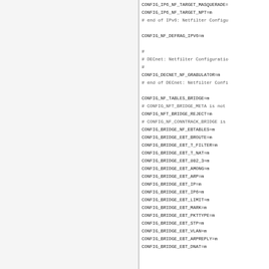CONFIG_IP6_NF_TARGET_MASQUERADE=
CONFIG_IP6_NF_TARGET_NPT=m
# end of IPv6: Netfilter Configu

CONFIG_NF_DEFRAG_IPV6=m

#
# DECnet: Netfilter Configuratio
#
CONFIG_DECNET_NF_GRABULATOR=m
# end of DECnet: Netfilter Confi

CONFIG_NF_TABLES_BRIDGE=m
# CONFIG_NFT_BRIDGE_META is not
CONFIG_NFT_BRIDGE_REJECT=m
# CONFIG_NF_CONNTRACK_BRIDGE is
CONFIG_BRIDGE_NF_EBTABLES=m
CONFIG_BRIDGE_EBT_BROUTE=m
CONFIG_BRIDGE_EBT_T_FILTER=m
CONFIG_BRIDGE_EBT_T_NAT=m
CONFIG_BRIDGE_EBT_802_3=m
CONFIG_BRIDGE_EBT_AMONG=m
CONFIG_BRIDGE_EBT_ARP=m
CONFIG_BRIDGE_EBT_IP=m
CONFIG_BRIDGE_EBT_IP6=m
CONFIG_BRIDGE_EBT_LIMIT=m
CONFIG_BRIDGE_EBT_MARK=m
CONFIG_BRIDGE_EBT_PKTTYPE=m
CONFIG_BRIDGE_EBT_STP=m
CONFIG_BRIDGE_EBT_VLAN=m
CONFIG_BRIDGE_EBT_ARPREPLY=m
CONFIG_BRIDGE_EBT_DNAT=m